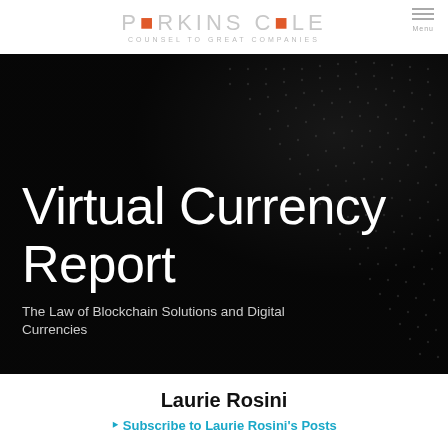PERKINS COIE — COUNSEL TO GREAT COMPANIES
[Figure (illustration): Dark banner image with dot-grid network pattern background, showing the report cover for 'Virtual Currency Report — The Law of Blockchain Solutions and Digital Currencies' by Perkins Coie law firm]
Virtual Currency Report
The Law of Blockchain Solutions and Digital Currencies
Laurie Rosini
Subscribe to Laurie Rosini's Posts